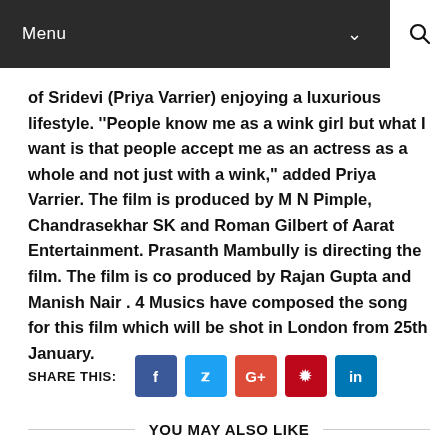Menu
of Sridevi (Priya Varrier) enjoying a luxurious lifestyle. ''People know me as a wink girl but what I want is that people accept me as an actress as a whole and not just with a wink," added Priya Varrier. The film is produced by M N Pimple, Chandrasekhar SK and Roman Gilbert of Aarat Entertainment. Prasanth Mambully is directing the film. The film is co produced by Rajan Gupta and Manish Nair . 4 Musics have composed the song for this film which will be shot in London from 25th January.
SHARE THIS:
YOU MAY ALSO LIKE